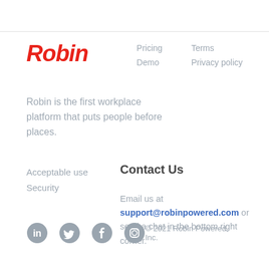[Figure (logo): Robin logo in red italic bold text]
Pricing
Demo
Terms
Privacy policy
Robin is the first workplace platform that puts people before places.
Acceptable use
Security
Contact Us
Email us at support@robinpowered.com or send a chat in the bottom right corner.
[Figure (other): Social media icons: LinkedIn, Twitter, Facebook, Instagram]
© 2021 Robin Powered, Inc.